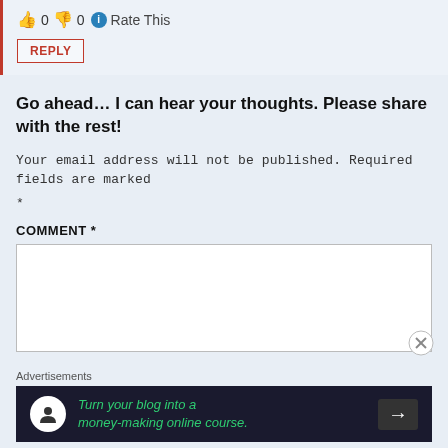👍 0 👎 0 ℹ Rate This
REPLY
Go ahead… I can hear your thoughts. Please share with the rest!
Your email address will not be published. Required fields are marked *
COMMENT *
[Figure (screenshot): Empty comment text area input box with a close/X icon in the bottom right corner]
Advertisements
[Figure (infographic): Dark advertisement banner: 'Turn your blog into a money-making online course.' with a right arrow button]